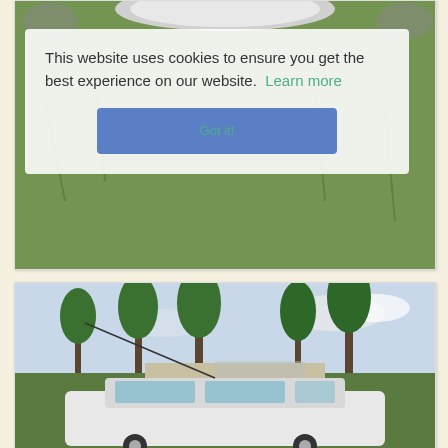[Figure (photo): Photo of a white plate or dish on green grass, with a cookie consent overlay banner containing text 'This website uses cookies to ensure you get the best experience on our website. Learn more' and a blue 'Got it!' button]
This website uses cookies to ensure you get the best experience on our website. Learn more
[Figure (photo): Photo of a white station wagon or SUV parked in a driveway surrounded by tall palm trees and green foliage against a partly cloudy sky]